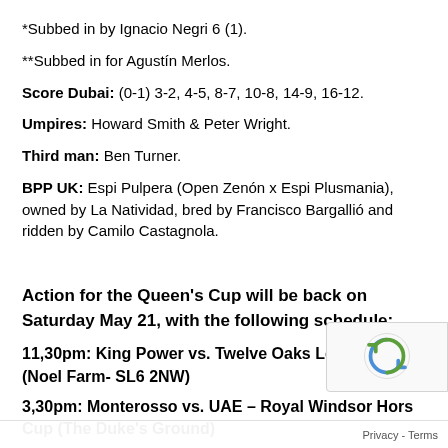*Subbed in by Ignacio Negri 6 (1).
**Subbed in for Agustín Merlos.
Score Dubai: (0-1) 3-2, 4-5, 8-7, 10-8, 14-9, 16-12.
Umpires: Howard Smith & Peter Wright.
Third man: Ben Turner.
BPP UK: Espi Pulpera (Open Zenón x Espi Plusmania), owned by La Natividad, bred by Francisco Bargallió and ridden by Camilo Castagnola.
Action for the Queen's Cup will be back on Saturday May 21, with the following schedule:
11,30pm: King Power vs. Twelve Oaks Les Lions (Noel Farm- SL6 2NW)
3,30pm: Monterosso vs. UAE – Royal Windsor Hors… Cup (The Duke's Ground)